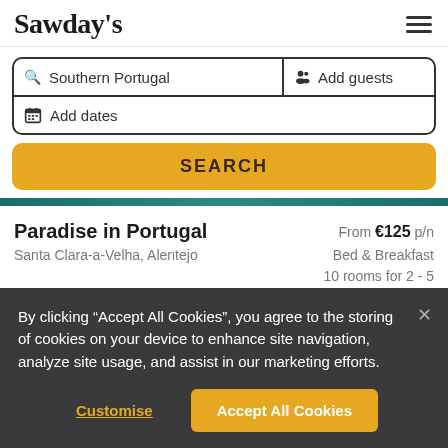Sawday's
Southern Portugal | Add guests | Add dates
SEARCH
Paradise in Portugal
Santa Clara-a-Velha, Alentejo
From €125 p/n
Bed & Breakfast
10 rooms for 2 - 5
By clicking "Accept All Cookies", you agree to the storing of cookies on your device to enhance site navigation, analyze site usage, and assist in our marketing efforts.
Customise   Accept All Cookies